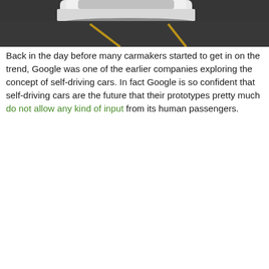[Figure (photo): Partial top view of a white self-driving car on a road with yellow lane markings, dark asphalt road surface visible]
Back in the day before many carmakers started to get in on the trend, Google was one of the earlier companies exploring the concept of self-driving cars. In fact Google is so confident that self-driving cars are the future that their prototypes pretty much do not allow any kind of input from its human passengers.